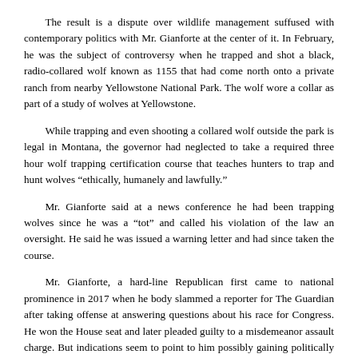The result is a dispute over wildlife management suffused with contemporary politics with Mr. Gianforte at the center of it. In February, he was the subject of controversy when he trapped and shot a black, radio-collared wolf known as 1155 that had come north onto a private ranch from nearby Yellowstone National Park. The wolf wore a collar as part of a study of wolves at Yellowstone.
While trapping and even shooting a collared wolf outside the park is legal in Montana, the governor had neglected to take a required three hour wolf trapping certification course that teaches hunters to trap and hunt wolves “ethically, humanely and lawfully.”
Mr. Gianforte said at a news conference he had been trapping wolves since he was a “tot” and called his violation of the law an oversight. He said he was issued a warning letter and had since taken the course.
Mr. Gianforte, a hard-line Republican first came to national prominence in 2017 when he body slammed a reporter for The Guardian after taking offense at answering questions about his race for Congress. He won the House seat and later pleaded guilty to a misdemeanor assault charge. But indications seem to point to him possibly gaining politically from a firm stance against predators in a state where anger over the perceived overabundance of wolves and bears runs deep, and one that overwhelmingly supported Donald J. Trump in the 2016 and 2020 presidential elections.
The return of the wolf and grizzly bear to the northern Rockies are two success stories that came out of the Endangered Species Act. In 1975, when